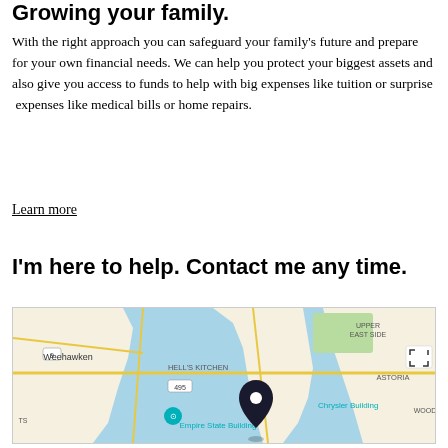Growing your family.
With the right approach you can safeguard your family's future and prepare for your own financial needs. We can help you protect your biggest assets and also give you access to funds to help with big expenses like tuition or surprise expenses like medical bills or home repairs.
Learn more
I'm here to help. Contact me any time.
[Figure (map): Google Maps view showing Manhattan and surrounding areas including Weehawken, Hell's Kitchen, Upper East Side, Astoria, with markers for Empire State Building, Chrysler Building, and a location pin in midtown Manhattan.]